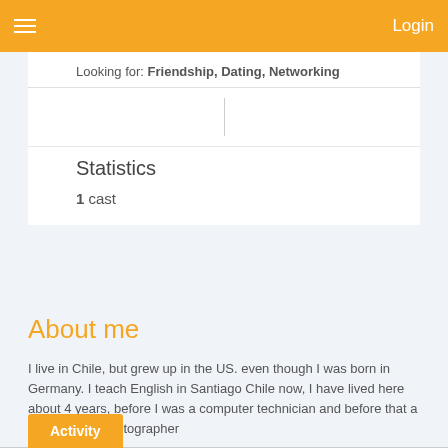Login
Looking for: Friendship, Dating, Networking
Statistics
1 cast
About me
I live in Chile, but grew up in the US. even though I was born in Germany. I teach English in Santiago Chile now, I have lived here about 4 years, before I was a computer technician and before that a professional photographer
Activity